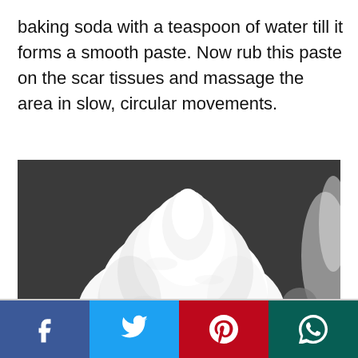baking soda with a teaspoon of water till it forms a smooth paste. Now rub this paste on the scar tissues and massage the area in slow, circular movements.
[Figure (photo): A wooden spoon/bowl heaped with white baking soda powder, against a dark background scattered with white powder]
[Figure (infographic): Social media share bar with Facebook, Twitter, Pinterest, and WhatsApp buttons]